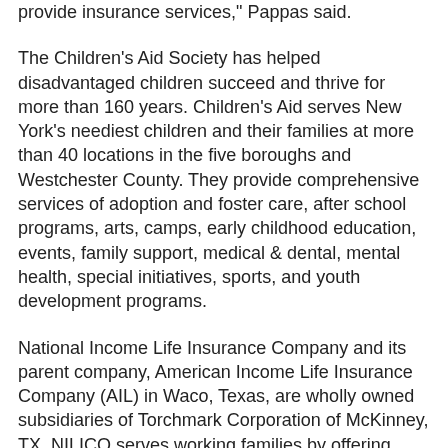provide insurance services," Pappas said.
The Children's Aid Society has helped disadvantaged children succeed and thrive for more than 160 years. Children's Aid serves New York's neediest children and their families at more than 40 locations in the five boroughs and Westchester County. They provide comprehensive services of adoption and foster care, after school programs, arts, camps, early childhood education, events, family support, medical & dental, mental health, special initiatives, sports, and youth development programs.
National Income Life Insurance Company and its parent company, American Income Life Insurance Company (AIL) in Waco, Texas, are wholly owned subsidiaries of Torchmark Corporation of McKinney, TX. NILICO serves working families by offering quality, affordable supplemental insurance benefits. To learn more about a sales career with National Income Life, or